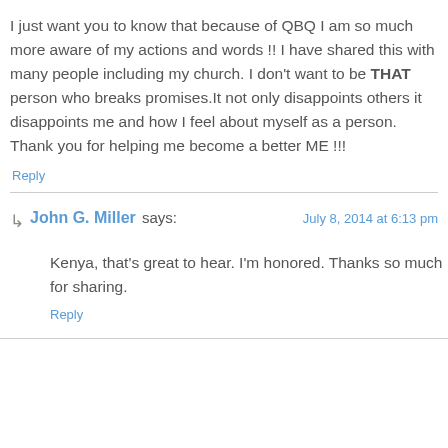I just want you to know that because of QBQ I am so much more aware of my actions and words !! I have shared this with many people including my church. I don't want to be THAT person who breaks promises.It not only disappoints others it disappoints me and how I feel about myself as a person. Thank you for helping me become a better ME !!!
Reply
John G. Miller says:
July 8, 2014 at 6:13 pm
Kenya, that's great to hear. I'm honored. Thanks so much for sharing.
Reply